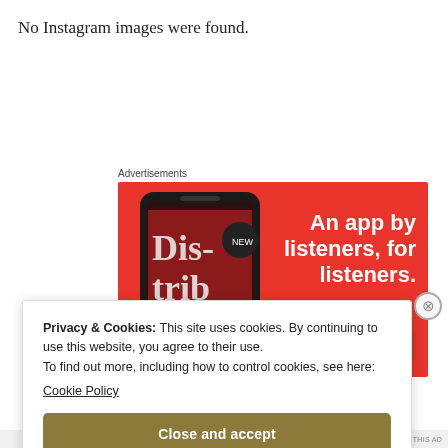No Instagram images were found.
Advertisements
[Figure (screenshot): Red advertisement banner showing a smartphone with app text 'Distributed' on screen, and white bold text reading 'An app by listeners, for listeners.' on the right side]
Privacy & Cookies: This site uses cookies. By continuing to use this website, you agree to their use.
To find out more, including how to control cookies, see here:
Cookie Policy
Close and accept